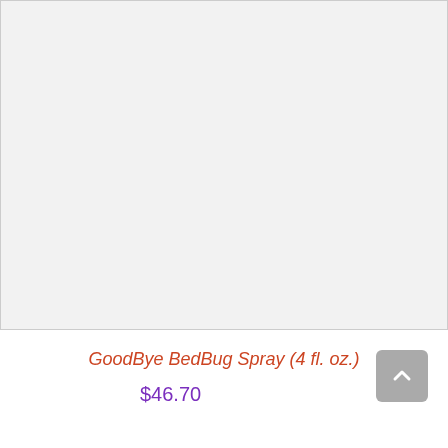[Figure (photo): Product image area — light gray placeholder rectangle for GoodBye BedBug Spray product photo]
GoodBye BedBug Spray (4 fl. oz.)
$46.70